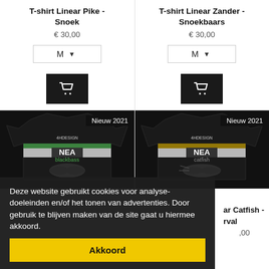T-shirt Linear Pike - Snoek
€ 30,00
T-shirt Linear Zander - Snoekbaars
€ 30,00
[Figure (screenshot): Black t-shirt with blackbass design, 4HDesign brand, NEA logo, Nieuw 2021 badge]
[Figure (screenshot): Black t-shirt with catfish design, 4HDesign brand, NEA logo, Nieuw 2021 badge]
Deze website gebruikt cookies voor analyse-doeleinden en/of het tonen van advertenties. Door gebruik te blijven maken van de site gaat u hiermee akkoord.
Akkoord
ar Catfish - rval
,00